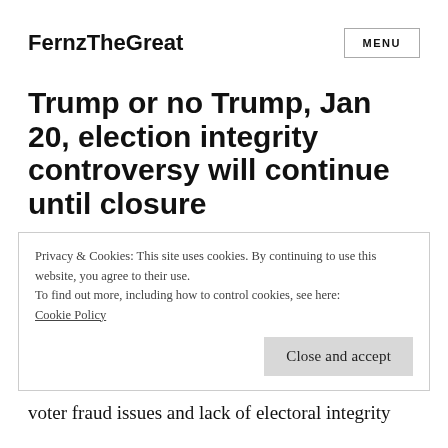FernzTheGreat
Trump or no Trump, Jan 20, election integrity controversy will continue until closure
Privacy & Cookies: This site uses cookies. By continuing to use this website, you agree to their use.
To find out more, including how to control cookies, see here:
Cookie Policy

Close and accept
voter fraud issues and lack of electoral integrity